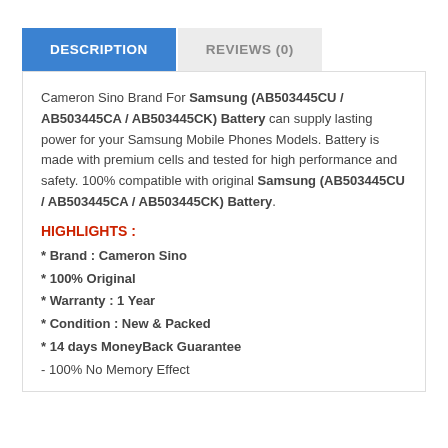DESCRIPTION
REVIEWS (0)
Cameron Sino Brand For Samsung (AB503445CU / AB503445CA / AB503445CK) Battery can supply lasting power for your Samsung Mobile Phones Models. Battery is made with premium cells and tested for high performance and safety. 100% compatible with original Samsung (AB503445CU / AB503445CA / AB503445CK) Battery.
HIGHLIGHTS :
* Brand : Cameron Sino
* 100% Original
* Warranty : 1 Year
* Condition : New & Packed
* 14 days MoneyBack Guarantee
- 100% No Memory Effect